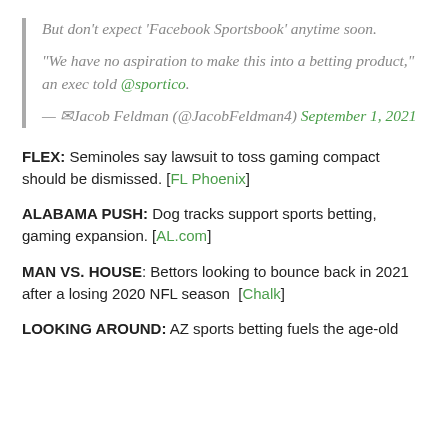But don't expect 'Facebook Sportsbook' anytime soon.

"We have no aspiration to make this into a betting product," an exec told @sportico.

— ✉Jacob Feldman (@JacobFeldman4) September 1, 2021
FLEX: Seminoles say lawsuit to toss gaming compact should be dismissed. [FL Phoenix]
ALABAMA PUSH: Dog tracks support sports betting, gaming expansion. [AL.com]
MAN VS. HOUSE: Bettors looking to bounce back in 2021 after a losing 2020 NFL season [Chalk]
LOOKING AROUND: AZ sports betting fuels the age-old